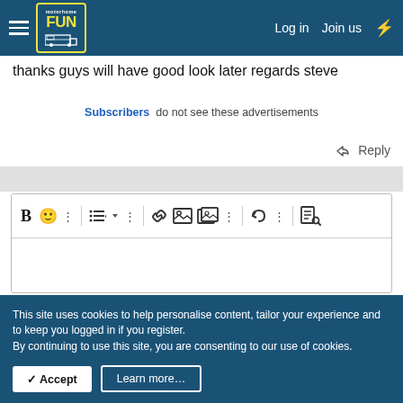motorhome FUN — Log in  Join us
thanks guys will have good look later regards steve
Subscribers do not see these advertisements
↩ Reply
[Figure (screenshot): Rich text editor toolbar with icons: Bold (B), emoji, more options (dots), bullet list, more options, link, image, image gallery, more options, undo, more options, and document search icon]
This site uses cookies to help personalise content, tailor your experience and to keep you logged in if you register.
By continuing to use this site, you are consenting to our use of cookies.
✓ Accept   Learn more…